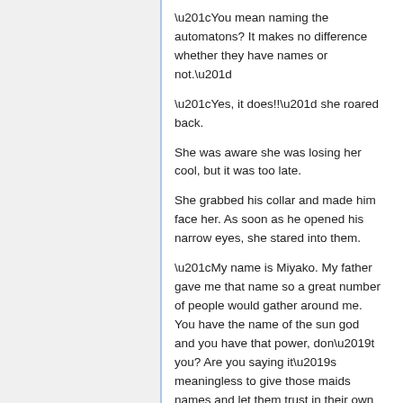“You mean naming the automatons? It makes no difference whether they have names or not.”
“Yes, it does!!” she roared back.
She was aware she was losing her cool, but it was too late.
She grabbed his collar and made him face her. As soon as he opened his narrow eyes, she stared into them.
“My name is Miyako. My father gave me that name so a great number of people would gather around me. You have the name of the sun god and you have that power, don’t you? Are you saying it’s meaningless to give those maids names and let them trust in their own strength!?”
“You truly trust in your name, don’t you?” His eyebrows lay flat and he looked her